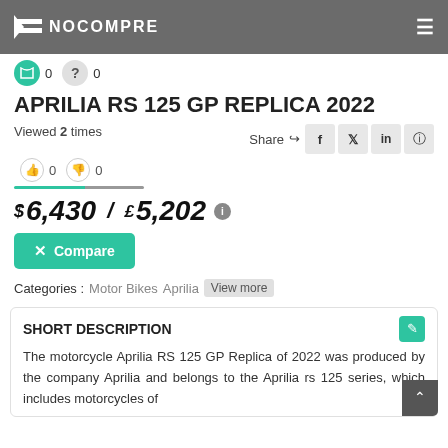NOCOMPRE
APRILIA RS 125 GP REPLICA 2022
Viewed 2 times
Share
$6,430 / £5,202
Compare
Categories : Motor Bikes Aprilia View more
SHORT DESCRIPTION
The motorcycle Aprilia RS 125 GP Replica of 2022 was produced by the company Aprilia and belongs to the Aprilia rs 125 series, which includes motorcycles of